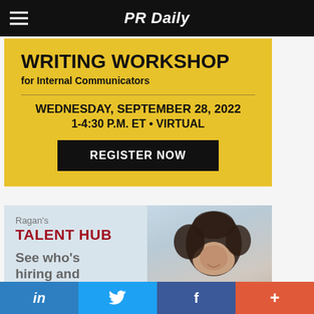PR Daily
[Figure (infographic): Writing Workshop for Internal Communicators banner on yellow/gold background. Wednesday, September 28, 2022. 1-4:30 P.M. ET • VIRTUAL. REGISTER NOW button.]
[Figure (infographic): Ragan's TALENT HUB banner with photo of smiling woman. Text: See who's hiring and...]
in | (Twitter bird) | f | +